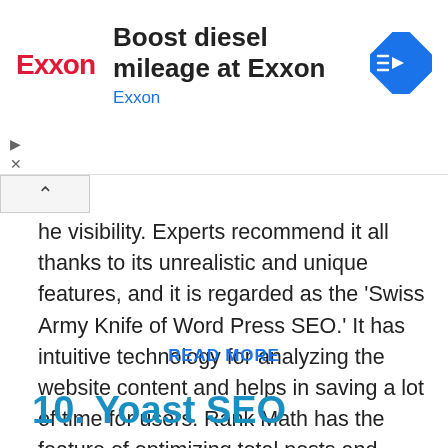[Figure (screenshot): Exxon advertisement banner with Exxon logo in red, text 'Boost diesel mileage at Exxon' and 'Exxon' subtitle in blue, and a blue diamond direction icon on the right. Contains play and close control icons on the left side.]
he visibility. Experts recommend it all thanks to its unrealistic and unique features, and it is regarded as the 'Swiss Army Knife of Word Press SEO.' It has intuitive technology for analyzing the website content and helps in saving a lot of time for users. Rank Math has the feature of optimizing total posts and pages at one time. The...
READ MORE
10. Yoast SEO